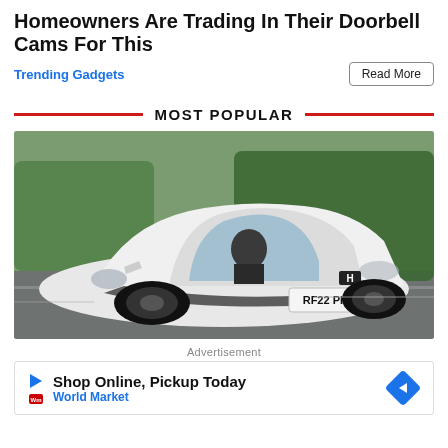Homeowners Are Trading In Their Doorbell Cams For This
Trending Gadgets
Read More
MOST POPULAR
[Figure (photo): White Honda Civic (RF22 PKE) driving on a road with green hedges in the background, photographed from the front-left at an angle.]
Advertisement
[Figure (other): Advertisement banner for World Market: Shop Online, Pickup Today with a blue diamond arrow icon on the right and play/World Market logo on the left.]